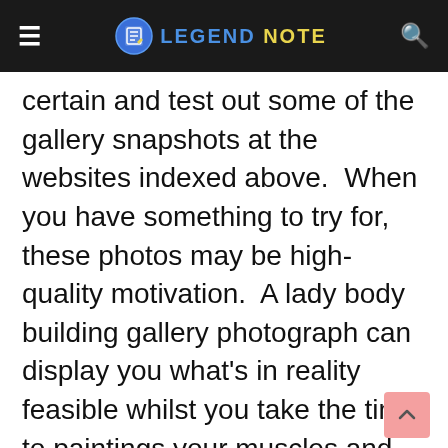LEGEND NOTE
certain and test out some of the gallery snapshots at the websites indexed above.  When you have something to try for, these photos may be high-quality motivation.  A lady body building gallery photograph can display you what's in reality feasible whilst you take the time to paintings your muscles and devote yourself to a body constructing application.  Male or female, body constructing gallery pictures can be valuable in your quest for a wonderful body!